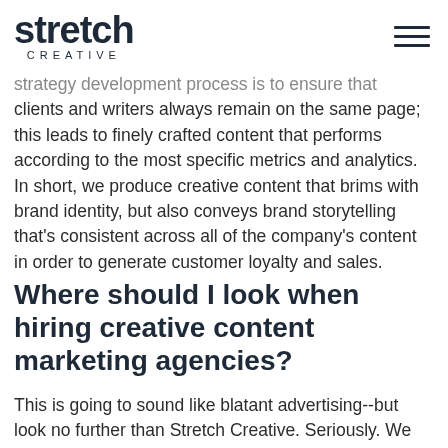stretch CREATIVE
strategy development process is to ensure that clients and writers always remain on the same page; this leads to finely crafted content that performs according to the most specific metrics and analytics. In short, we produce creative content that brims with brand identity, but also conveys brand storytelling that’s consistent across all of the company’s content in order to generate customer loyalty and sales.
Where should I look when hiring creative content marketing agencies?
This is going to sound like blatant advertising--but look no further than Stretch Creative. Seriously. We